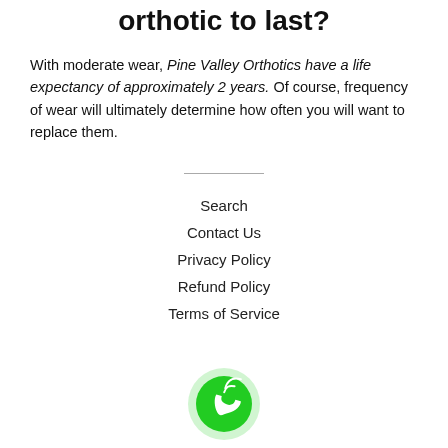How long can I expect your orthotic to last?
With moderate wear, Pine Valley Orthotics have a life expectancy of approximately 2 years. Of course, frequency of wear will ultimately determine how often you will want to replace them.
Search | Contact Us | Privacy Policy | Refund Policy | Terms of Service